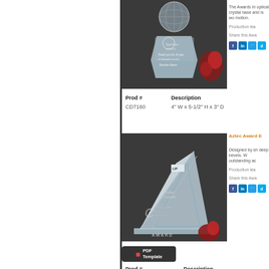[Figure (photo): Crystal globe award on geometric crystal base with Spectrum Brands engraving and red roses, displayed on dark background]
The Awards In optical crystal base and is wo motion.
Production lea
Share this Awa
| Prod # | Description |
| --- | --- |
| CD7160 | 4" W x 5-1/2" H x 3" D |
Aztec Award E
[Figure (photo): Aztec crystal award - triangular/mountain shaped crystal with deep bevels, engraved with name and text, with red rose accent on dark background]
Designed by sh deep bevels. W outstanding ac
Production lea
Share this Awa
[Figure (other): PDF Template button - dark background with red PDF icon]
| Prod # | Description |
| --- | --- |